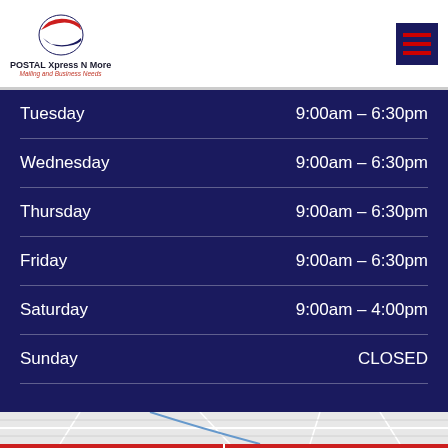POSTAL Xpress N More - Mailing and Business Needs
| Day | Hours |
| --- | --- |
| Tuesday | 9:00am – 6:30pm |
| Wednesday | 9:00am – 6:30pm |
| Thursday | 9:00am – 6:30pm |
| Friday | 9:00am – 6:30pm |
| Saturday | 9:00am – 4:00pm |
| Sunday | CLOSED |
[Figure (map): Street map showing business location]
LIVE CHAT
TEXT US